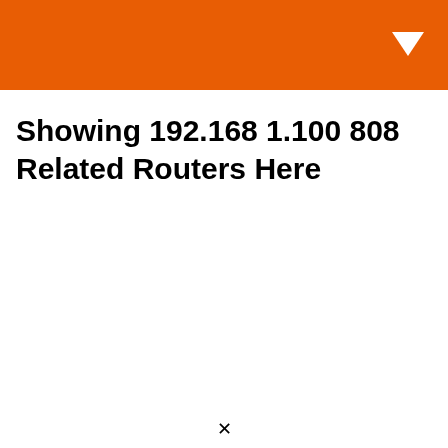Showing 192.168 1.100 808 Related Routers Here